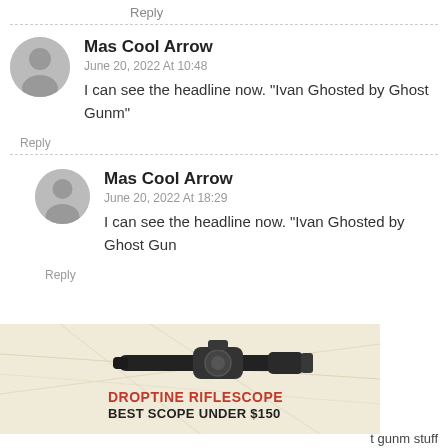Reply
Mas Cool Arrow
June 20, 2022 At 10:48
I can see the headline now. “Ivan Ghosted by Ghost Gunm”
Reply
Mas Cool Arrow
June 20, 2022 At 18:29
I can see the headline now. “Ivan Ghosted by Ghost Gun
Reply
[Figure (infographic): Burris Droptine Riflescope advertisement. Shows a scope image, Burris logo, text: DROPTINE RIFLESCOPE, BEST SCOPE UNDER $150, LEARN MORE button.]
t gunm stuff